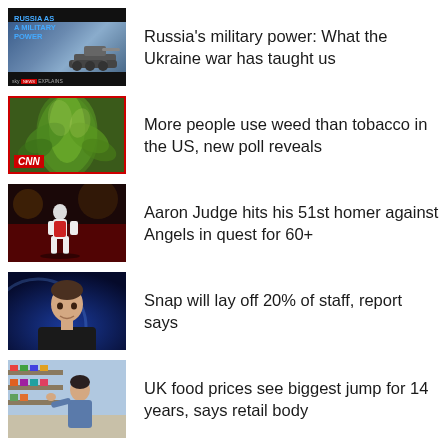Russia's military power: What the Ukraine war has taught us
More people use weed than tobacco in the US, new poll reveals
Aaron Judge hits his 51st homer against Angels in quest for 60+
Snap will lay off 20% of staff, report says
UK food prices see biggest jump for 14 years, says retail body